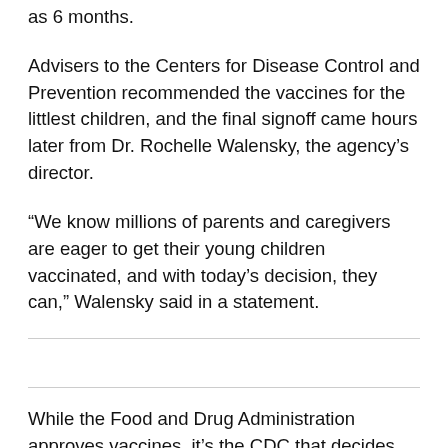as 6 months.
Advisers to the Centers for Disease Control and Prevention recommended the vaccines for the littlest children, and the final signoff came hours later from Dr. Rochelle Walensky, the agency's director.
“We know millions of parents and caregivers are eager to get their young children vaccinated, and with today’s decision, they can,” Walensky said in a statement.
While the Food and Drug Administration approves vaccines, it’s the CDC that decides who should get them.
The shots offer young children protection from hospitalization, death and possible long-term